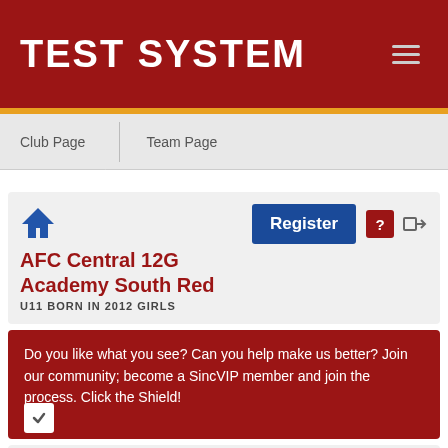TEST SYSTEM
Club Page  Team Page
[Figure (screenshot): Home icon, Register button, help icon, login icon]
AFC Central 12G Academy South Red
U11 BORN IN 2012 GIRLS
Do you like what you see? Can you help make us better? Join our community; become a SincVIP member and join the process. Click the Shield!
[Figure (screenshot): Bottom navigation icons row (partially visible)]